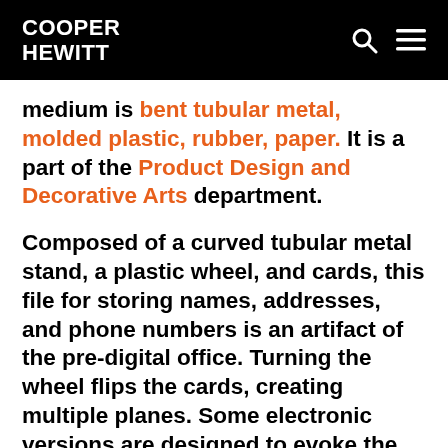COOPER HEWITT
medium is bent tubular metal, molded plastic, rubber, paper. It is a part of the Product Design and Decorative Arts department.
Composed of a curved tubular metal stand, a plastic wheel, and cards, this file for storing names, addresses, and phone numbers is an artifact of the pre-digital office. Turning the wheel flips the cards, creating multiple planes. Some electronic versions are designed to evoke the tactile